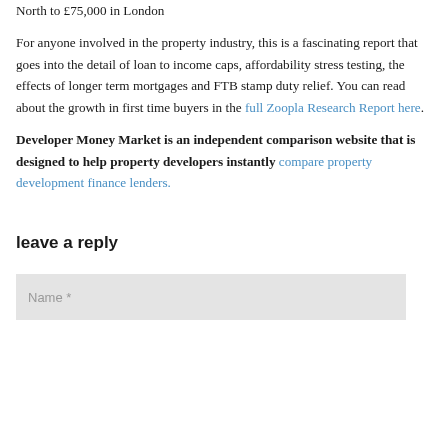North to £75,000 in London
For anyone involved in the property industry, this is a fascinating report that goes into the detail of loan to income caps, affordability stress testing, the effects of longer term mortgages and FTB stamp duty relief. You can read about the growth in first time buyers in the full Zoopla Research Report here.
Developer Money Market is an independent comparison website that is designed to help property developers instantly compare property development finance lenders.
leave a reply